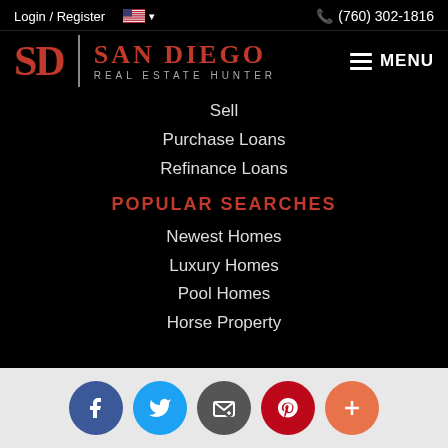Login / Register  🇺🇸 ▾   (760) 302-1816
[Figure (logo): San Diego Real Estate Hunter logo with SD monogram in red and gray, vertical divider, and company name]
Sell
Purchase Loans
Refinance Loans
POPULAR SEARCHES
Newest Homes
Luxury Homes
Pool Homes
Horse Property
[Figure (infographic): Social media icon bar with Facebook, Twitter, Email, Pinterest, and plus button circles]